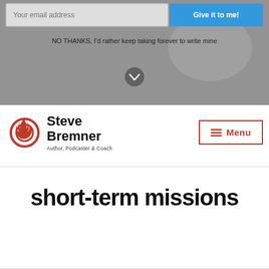[Figure (screenshot): Hero section with dark greyscale background showing a desk/notebook scene. Contains an email input field with placeholder 'Your email address', a blue 'Give it to me!' button, and a 'NO THANKS' opt-out link below. A grey circle chevron/down-arrow icon is centered below the opt-out text.]
[Figure (logo): Steve Bremner logo: red flame/S icon on left, bold black text 'Steve Bremner' with subtitle 'Author, Podcaster & Coach' on right.]
Menu
short-term missions